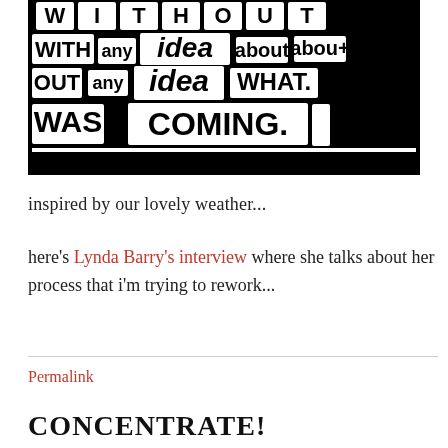[Figure (illustration): Bold black and white typographic illustration with large block letters reading 'without any idea about what was coming.' in a stamp/woodblock style on black background.]
inspired by our lovely weather...
here's Lynda Barry's interview where she talks about her process that i'm trying to rework...
Permalink
CONCENTRATE!